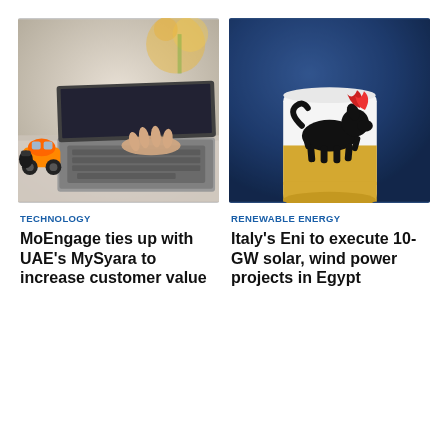[Figure (photo): Close-up of a person's hand typing on a laptop keyboard with an orange toy car in the foreground, blurred background with flowers]
[Figure (photo): Eni energy company logo (black dog with flame) on a white/yellow branded item against a dark navy blue background]
TECHNOLOGY
MoEngage ties up with UAE's MySyara to increase customer value
RENEWABLE ENERGY
Italy's Eni to execute 10-GW solar, wind power projects in Egypt